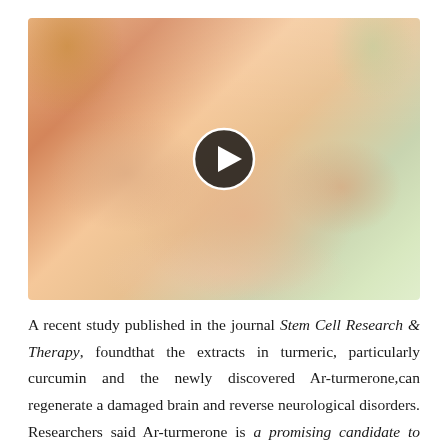[Figure (photo): A photograph showing two pairs of hands — one person gently holding another person's hand, suggesting care or support. A video play button overlay is centered on the image.]
A recent study published in the journal Stem Cell Research & Therapy, foundthat the extracts in turmeric, particularly curcumin and the newly discovered Ar-turmerone,can regenerate a damaged brain and reverse neurological disorders. Researchers said Ar-turmerone is a promising candidate to supportregeneration in neurologic disease. Michigan State University researcherBasir Ahmad also found that a compound in turmeric may help fight